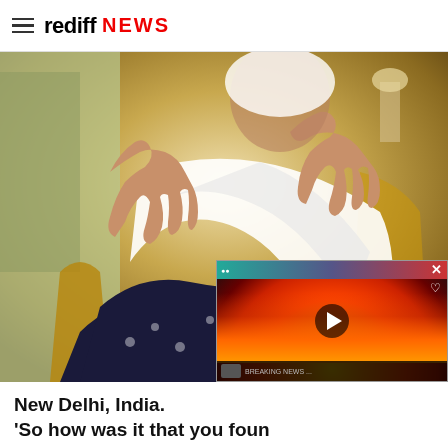rediff NEWS
[Figure (photo): Elderly Indian woman in white shawl and dark floral dress sitting in chair, gesturing with both hands raised]
[Figure (screenshot): Video overlay showing fire/flames scene with play button, top colored bar, and bottom text bar]
New Delhi, India.
'So how was it that you found had been Partitioned?' I asked She smiled, 'You see, we were Mashahre, which remained...